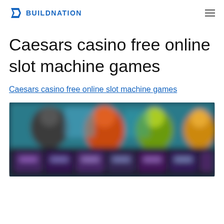BUILDNATION
Caesars casino free online slot machine games
Caesars casino free online slot machine games
[Figure (screenshot): Blurred screenshot of a casino slot machine game interface with colorful characters and game tiles on a dark background.]